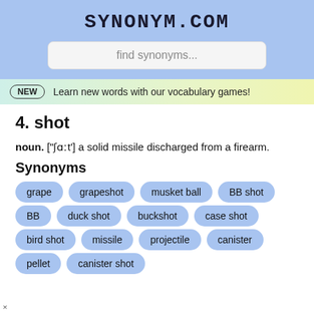SYNONYM.COM
find synonyms...
NEW  Learn new words with our vocabulary games!
4. shot
noun. ["ʃɑːt'] a solid missile discharged from a firearm.
Synonyms
grape
grapeshot
musket ball
BB shot
BB
duck shot
buckshot
case shot
bird shot
missile
projectile
canister
pellet
canister shot